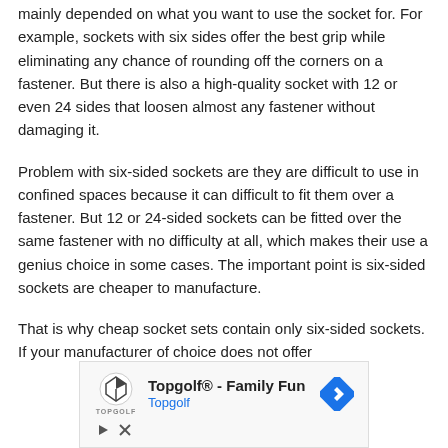mainly depended on what you want to use the socket for. For example, sockets with six sides offer the best grip while eliminating any chance of rounding off the corners on a fastener. But there is also a high-quality socket with 12 or even 24 sides that loosen almost any fastener without damaging it.
Problem with six-sided sockets are they are difficult to use in confined spaces because it can difficult to fit them over a fastener. But 12 or 24-sided sockets can be fitted over the same fastener with no difficulty at all, which makes their use a genius choice in some cases. The important point is six-sided sockets are cheaper to manufacture.
That is why cheap socket sets contain only six-sided sockets. If your manufacturer of choice does not offer sockets with 12 or 24 sides, it is fair to try the six-sided
[Figure (other): Advertisement banner for Topgolf - Family Fun. Shows Topgolf logo, the text 'Topgolf® - Family Fun' and 'Topgolf' in blue, with a blue diamond navigation/directions icon. Contains ad control buttons (play triangle and close X).]